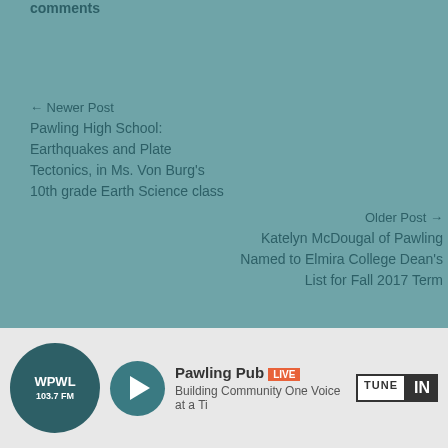comments
← Newer Post
Pawling High School: Earthquakes and Plate Tectonics, in Ms. Von Burg's 10th grade Earth Science class
Older Post →
Katelyn McDougal of Pawling Named to Elmira College Dean's List for Fall 2017 Term
[Figure (screenshot): Radio widget showing WPWL 103.7 FM logo, play button, Pawling Public Radio with LIVE badge and TuneIn logo, tagline: Building Community One Voice at a Time]